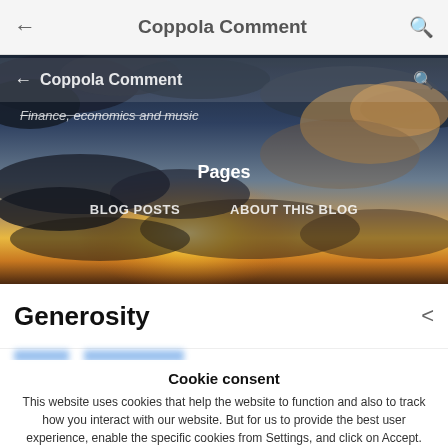← Coppola Comment 🔍
[Figure (photo): Hero banner with dramatic sky/sunset clouds. Overlaid ghost header with Coppola Comment title, subtitle 'Finance, economics and music' (struck through), Pages navigation with BLOG POSTS and ABOUT THIS BLOG links.]
Generosity
Cookie consent
This website uses cookies that help the website to function and also to track how you interact with our website. But for us to provide the best user experience, enable the specific cookies from Settings, and click on Accept.
Preferences   Reject All   Accept All